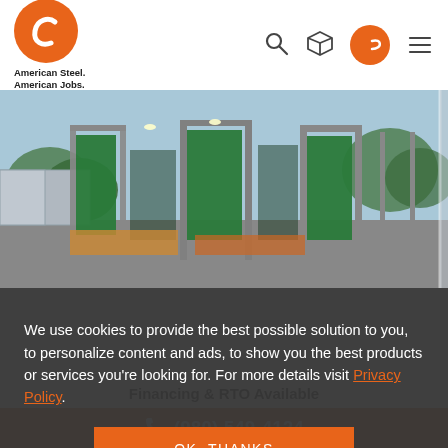[Figure (logo): American Steel / American Jobs logo - orange circle with C-shaped icon]
[Figure (photo): Outdoor steel batting cage or sports structure with green padding panels, viewed from multiple angles. Photo shows industrial area with shipping containers and trees in background.]
We use cookies to provide the best possible solution to you, to personalize content and ads, to show you the best products or services you're looking for. For more details visit Privacy Policy.
OK, THANKS
Financing & RTO Available
(980) 549-4124